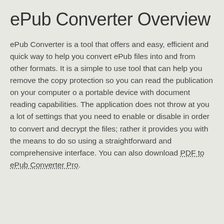ePub Converter Overview
ePub Converter is a tool that offers and easy, efficient and quick way to help you convert ePub files into and from other formats. It is a simple to use tool that can help you remove the copy protection so you can read the publication on your computer o a portable device with document reading capabilities. The application does not throw at you a lot of settings that you need to enable or disable in order to convert and decrypt the files; rather it provides you with the means to do so using a straightforward and comprehensive interface. You can also download PDF to ePub Converter Pro.